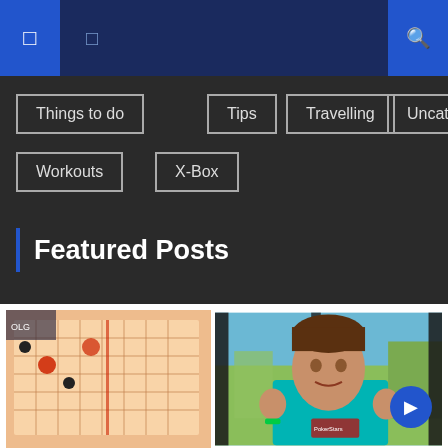Navigation bar with icons and search
Things to do
Tips
Travelling
Uncategorized
Workouts
X-Box
Featured Posts
[Figure (photo): Lottery ticket close-up photo]
[Figure (photo): Man in teal PokerStars shirt gesturing with hands, blue/green background]